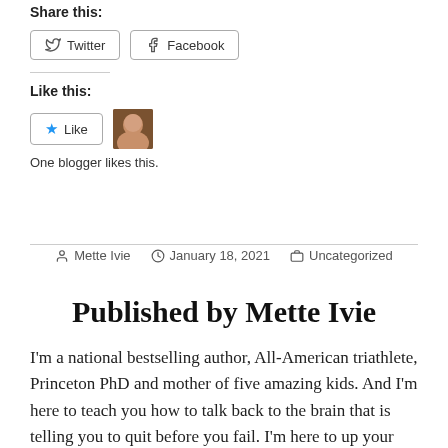Share this:
Twitter  Facebook
Like this:
Like  One blogger likes this.
By Mette Ivie  January 18, 2021  Uncategorized
Published by Mette Ivie
I'm a national bestselling author, All-American triathlete, Princeton PhD and mother of five amazing kids. And I'm here to teach you how to talk back to the brain that is telling you to quit before you fail. I'm here to up your game as a writer and